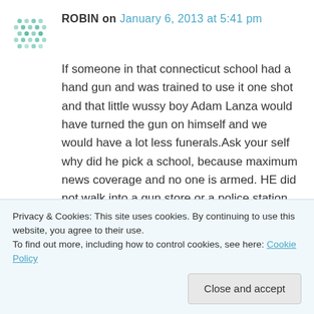ROBIN on January 6, 2013 at 5:41 pm
If someone in that connecticut school had a hand gun and was trained to use it one shot and that little wussy boy Adam Lanza would have turned the gun on himself and we would have a lot less funerals.Ask your self why did he pick a school, because maximum news coverage and no one is armed. HE did not walk into a gun store or a police station. THESE crazy people have one thing in common – to die and he
Privacy & Cookies: This site uses cookies. By continuing to use this website, you agree to their use.
To find out more, including how to control cookies, see here: Cookie Policy
Close and accept